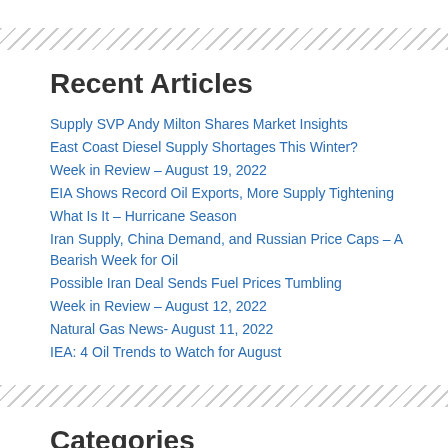Recent Articles
Supply SVP Andy Milton Shares Market Insights
East Coast Diesel Supply Shortages This Winter?
Week in Review – August 19, 2022
EIA Shows Record Oil Exports, More Supply Tightening
What Is It – Hurricane Season
Iran Supply, China Demand, and Russian Price Caps – A Bearish Week for Oil
Possible Iran Deal Sends Fuel Prices Tumbling
Week in Review – August 12, 2022
Natural Gas News- August 11, 2022
IEA: 4 Oil Trends to Watch for August
Categories
Alerts (84)